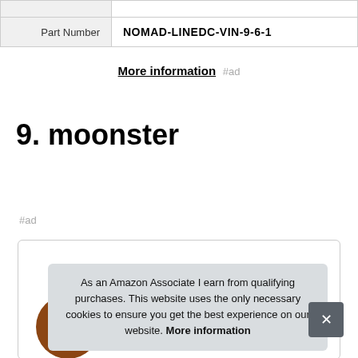| Part Number | NOMAD-LINEDC-VIN-9-6-1 |
More information #ad
9. moonster
#ad
[Figure (other): Product card area with image placeholder]
As an Amazon Associate I earn from qualifying purchases. This website uses the only necessary cookies to ensure you get the best experience on our website. More information